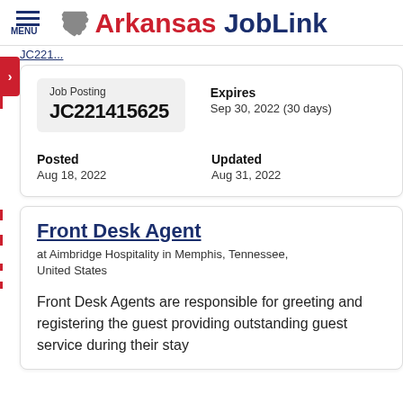Arkansas JobLink
MENU
JC221415625
Expires
Sep 30, 2022 (30 days)
Posted
Aug 18, 2022
Updated
Aug 31, 2022
Front Desk Agent
at Aimbridge Hospitality in Memphis, Tennessee, United States
Front Desk Agents are responsible for greeting and registering the guest providing outstanding guest service during their stay